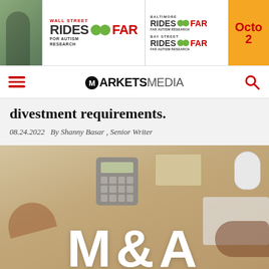[Figure (photo): Banner advertisement for Wall Street Rides FAR for Autism Research, Baltimore Rides FAR, Bay Street Rides FAR, with October date]
ARKETSMEDIA
divestment requirements.
08.24.2022   By Shanny Basar , Senior Writer
[Figure (photo): Overhead photo of a desk with M&A letter tiles, a calculator, keyboard, computer mouse, envelope, and hands of business people]